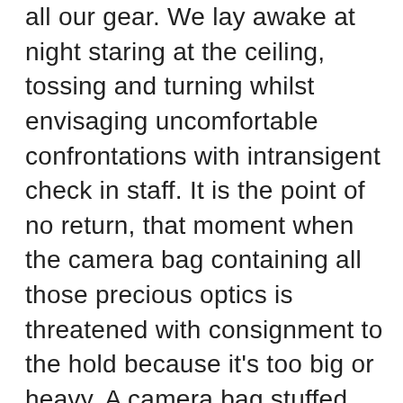all our gear. We lay awake at night staring at the ceiling, tossing and turning whilst envisaging uncomfortable confrontations with intransigent check in staff. It is the point of no return, that moment when  the camera bag containing all those precious optics is threatened with consignment to the hold because it's too big or heavy. A camera bag stuffed with top of the range DSLRs and expensive glass is about to be manhandled and pilfered ruthlessly by swarthy, tattooed and corrupt baggage handlers initially trained as Ukrainian weight lifters. I'm coming out in a cold sweat just writing this. It doesn't bare thinking about. I think we can surmise choice of camera bag is critical.